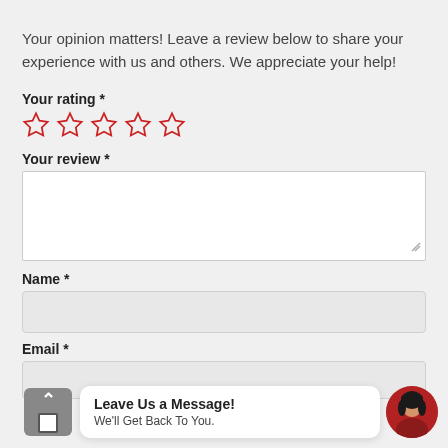Your opinion matters! Leave a review below to share your experience with us and others. We appreciate your help!
Your rating *
[Figure (infographic): Five empty star rating icons in red outline]
Your review *
[Figure (screenshot): Empty text area input field for review]
Name *
[Figure (screenshot): Empty name input field with light gray background]
Email *
[Figure (screenshot): Partial email input field with chat overlay widget showing 'Leave Us a Message! We'll Get Back To You.' with female avatar]